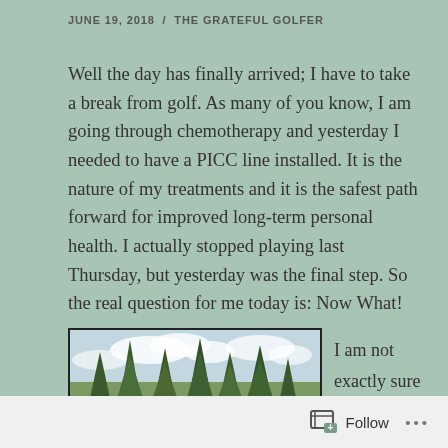JUNE 19, 2018  /  THE GRATEFUL GOLFER
Well the day has finally arrived; I have to take a break from golf. As many of you know, I am going through chemotherapy and yesterday I needed to have a PICC line installed. It is the nature of my treatments and it is the safest path forward for improved long-term personal health. I actually stopped playing last Thursday, but yesterday was the final step. So the real question for me today is: Now What!
[Figure (photo): A golf course with tall evergreen trees against a partly cloudy sky, green fairway in the foreground]
I am not exactly sure how long I will be off the course, but I
Follow  ...